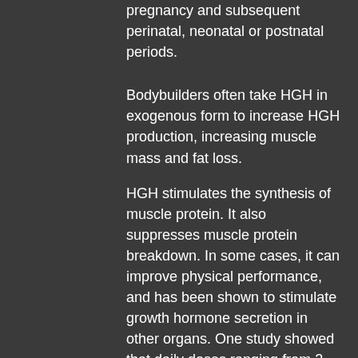pregnancy and subsequent perinatal, neonatal or postnatal periods.
Bodybuilders often take HGH in exogenous form to increase HGH production, increasing muscle mass and fat loss.
HGH stimulates the synthesis of muscle protein. It also suppresses muscle protein breakdown. In some cases, it can improve physical performance, and has been shown to stimulate growth hormone secretion in other organs. One study showed that daily doses ranging from 2 mg/day to over 20 mg/day increased body mass by 8–15% and fat by 4–7% in men. [11]
One study measured liver and muscle enzyme concentrations in 24 healthy men who participated in a weekly 12-week strength training program and did 4-week